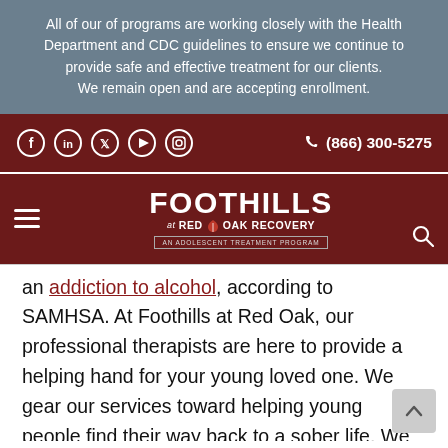All of our of programs are working closely with the Health Department and CDC guidelines to ensure we continue to provide safe and effective treatment for our clients. We remain open and are accepting enrollment.
Social icons: Facebook, LinkedIn, Twitter, YouTube, Instagram | (866) 300-5275
[Figure (logo): Foothills at Red Oak Recovery logo - An Adolescent Treatment Program]
an addiction to alcohol, according to SAMHSA. At Foothills at Red Oak, our professional therapists are here to provide a helping hand for your young loved one. We gear our services toward helping young people find their way back to a sober life. We use evidence-based and holistic treatment programs and dedicated staff to bring about a life of recovery. Some of the treatment programs we offer include: